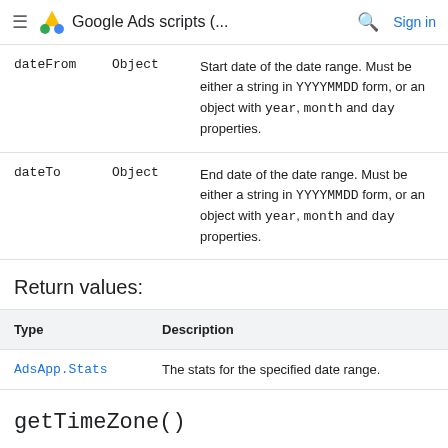Google Ads scripts (... Sign in
| dateFrom | Object | Start date of the date range. Must be either a string in YYYYMMDD form, or an object with year, month and day properties. |
| dateTo | Object | End date of the date range. Must be either a string in YYYYMMDD form, or an object with year, month and day properties. |
Return values:
| Type | Description |
| --- | --- |
| AdsApp.Stats | The stats for the specified date range. |
getTimeZone()